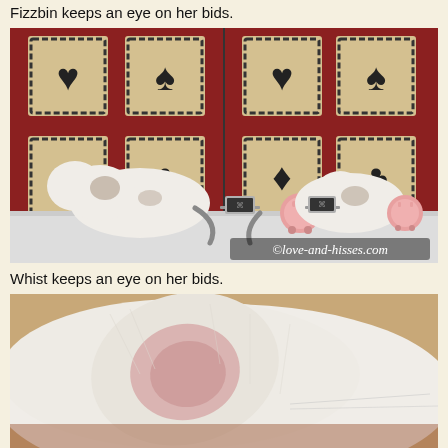Fizzbin keeps an eye on her bids.
[Figure (photo): Side-by-side diptych photo of a white cat with tabby markings on a shelf, leaning over a small MacBook laptop next to a pink alarm clock. Background wall has decorative tiles with playing card suit symbols (hearts, spades, diamonds, clubs) on dark red. Watermark reads ©love-and-hisses.com]
Whist keeps an eye on her bids.
[Figure (photo): Close-up photo of a white fluffy cat's ear and head, sleeping or resting, showing soft white fur with pink inner ear detail.]